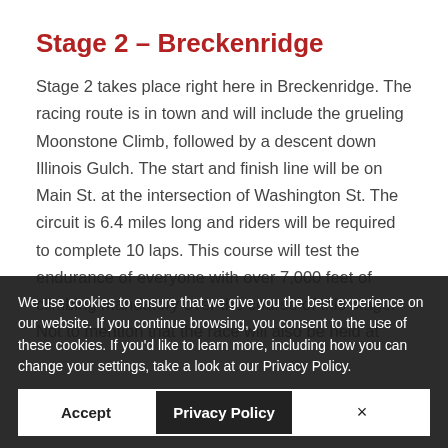Stage 2 – Breckenridge
Stage 2 takes place right here in Breckenridge. The racing route is in town and will include the grueling Moonstone Climb, followed by a descent down Illinois Gulch. The start and finish line will be on Main St. at the intersection of Washington St. The circuit is 6.4 miles long and riders will be required to complete 10 laps. This course will test the endurance of everyone with over 7,000 feet of climbing mandatory over the course of this stage. Not to mention that the race will also be held at 9,600 feet of elevation. Both the climb and the descent will highlight certain riders' strengths and weaknesses and both will be very exciting to watch. The wo...he men, b...ly have to compli...s oppose...start time will b...
We use cookies to ensure that we give you the best experience on our website. If you continue browsing, you consent to the use of these cookies. If you'd like to learn more, including how you can change your settings, take a look at our Privacy Policy.